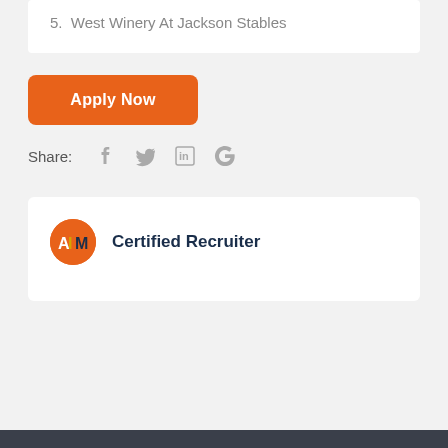5.  West Winery At Jackson Stables
Apply Now
Share:
Certified Recruiter